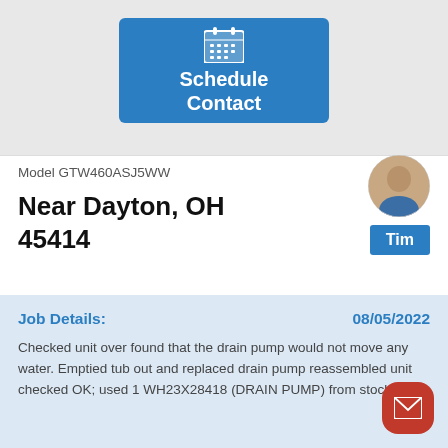[Figure (screenshot): Blue 'Schedule Contact' button with calendar icon]
Model GTW460ASJ5WW
[Figure (photo): Circular profile photo of a person (Tim)]
Tim
Near Dayton, OH 45414
Job Details: 08/05/2022
Checked unit over found that the drain pump would not move any water. Emptied tub out and replaced drain pump reassembled unit checked OK; used 1 WH23X28418 (DRAIN PUMP) from stock